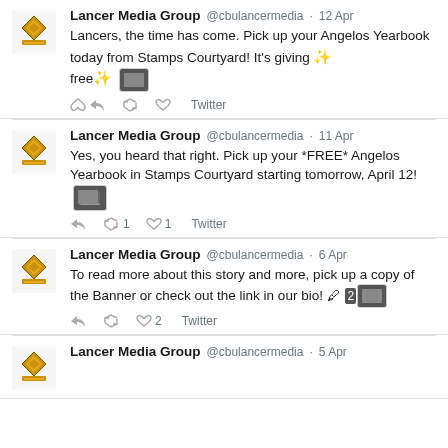[Figure (screenshot): Twitter/social media feed showing tweets from Lancer Media Group (@cbulancermedia). Tweet 1 (12 Apr): Lancers, the time has come. Pick up your Angelos Yearbook today from Stamps Courtyard! It's giving free [star emoji][image]. Tweet 2 (11 Apr): Yes, you heard that right. Pick up your *FREE* Angelos Yearbook in Stamps Courtyard starting tomorrow, April 12! [image]. Retweet 1, Like 1. Tweet 3 (6 Apr): To read more about this story and more, pick up a copy of the Banner or check out the link in our bio! [pencil emoji] 2[image]. Like 2. Tweet 4 partial (5 Apr): Lancer Media Group header visible.]